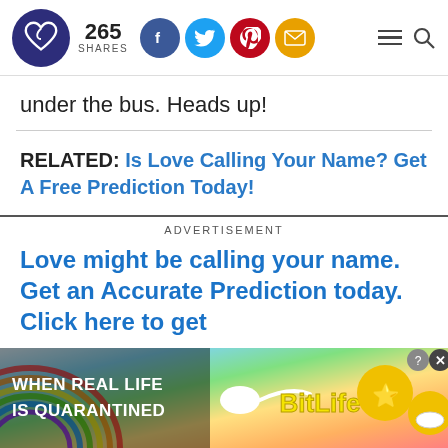265 SHARES [Facebook] [Twitter] [Pinterest] [Email] [Menu] [Search]
under the bus. Heads up!
RELATED: Is Love Calling Your Name? Get A Free Prediction Today!
ADVERTISEMENT
Love might be calling your name. Get an Accurate Prediction today. Click here to get
[Figure (screenshot): Bottom advertisement banner for BitLife game showing rainbow background, sperm icon, BitLife logo in yellow, emoji characters, with text WHEN REAL LIFE IS QUARANTINED, close buttons in top right]